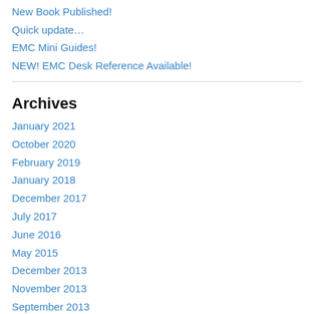New Book Published!
Quick update…
EMC Mini Guides!
NEW! EMC Desk Reference Available!
Archives
January 2021
October 2020
February 2019
January 2018
December 2017
July 2017
June 2016
May 2015
December 2013
November 2013
September 2013
August 2013